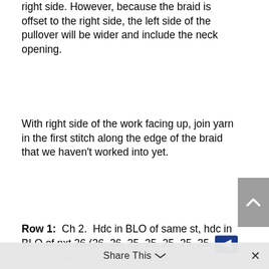right side. However, because the braid is offset to the right side, the left side of the pullover will be wider and include the neck opening.
With right side of the work facing up, join yarn in the first stitch along the edge of the braid that we haven't worked into yet.
Row 1: Ch 2. Hdc in BLO of same st, hdc in BLO of nxt 26 (26, 26, 25, 25, 25, 25, 25,
25) sts. *Hdc in BLO of nxt 15 sts along the edge of the following braid section*